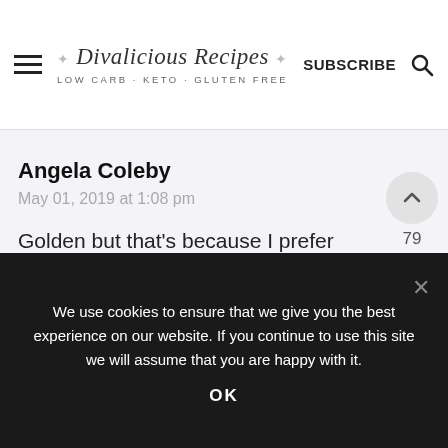Divalicious Recipes LOW CARB · KETO · GLUTEN FREE | SUBSCRIBE
Angela Coleby
May 01, 2019 at 1:08 pm
Golden but that's because I prefer the taste.
REPLY
79
We use cookies to ensure that we give you the best experience on our website. If you continue to use this site we will assume that you are happy with it.
OK